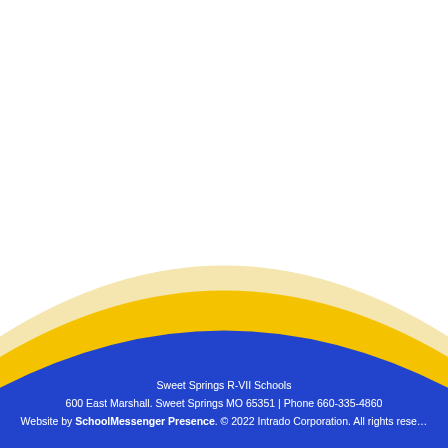[Figure (illustration): Decorative footer graphic with layered arching waves in cream/light yellow, gold/yellow, and royal blue colors spanning the bottom of the page.]
Sweet Springs R-VII Schools
600 East Marshall. Sweet Springs MO 65351 | Phone 660-335-4860
Website by SchoolMessenger Presence. © 2022 Intrado Corporation. All rights reserved.